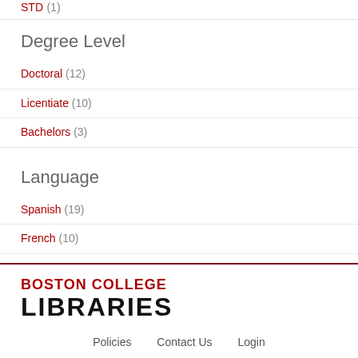STD (1)
Degree Level
Doctoral (12)
Licentiate (10)
Bachelors (3)
Language
Spanish (19)
French (10)
Italian (2)
Greek, Modern (1453-) (1)
BOSTON COLLEGE LIBRARIES  Policies  Contact Us  Login